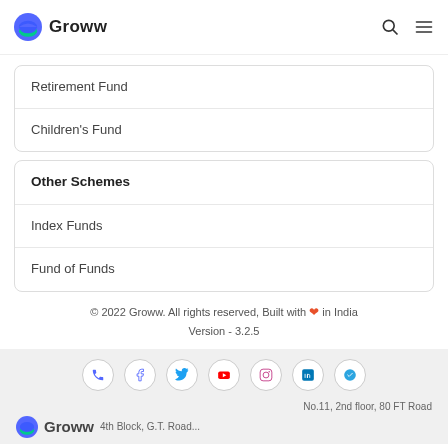Groww
Retirement Fund
Children's Fund
Other Schemes
Index Funds
Fund of Funds
© 2022 Groww. All rights reserved, Built with ❤ in India
Version - 3.2.5
No.11, 2nd floor, 80 FT Road